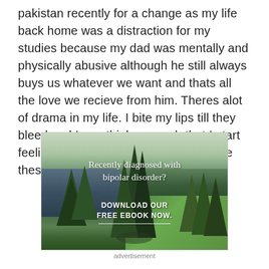pakistan recently for a change as my life back home was a distraction for my studies because my dad was mentally and physically abusive although he still always buys us whatever we want and thats all the love we recieve from him. Theres alot of drama in my life. I bite my lips till they bleed and I overthink so much that I start feeling physical problems due to it. Like these days I feel exhausted like
[Figure (illustration): Advertisement banner showing a forest scene with a river/stream, tall evergreen trees, and green meadow. Text overlay reads 'Recently diagnosed with bipolar disorder?' and 'DOWNLOAD OUR FREE EBOOK NOW.' with an underline.]
advertisement